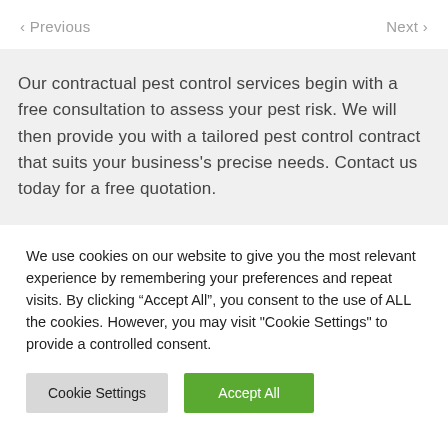< Previous   Next >
Our contractual pest control services begin with a free consultation to assess your pest risk. We will then provide you with a tailored pest control contract that suits your business's precise needs. Contact us today for a free quotation.
We use cookies on our website to give you the most relevant experience by remembering your preferences and repeat visits. By clicking “Accept All”, you consent to the use of ALL the cookies. However, you may visit "Cookie Settings" to provide a controlled consent.